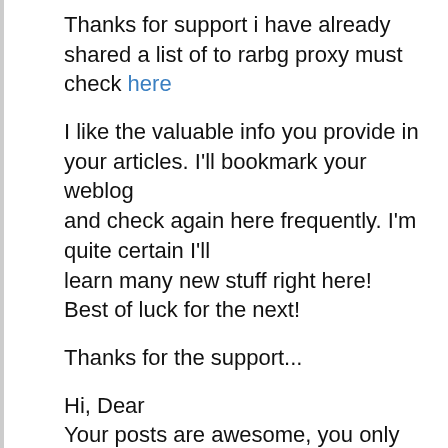Thanks for support i have already shared a list of to rarbg proxy must check here
I like the valuable info you provide in your articles. I'll bookmark your weblog and check again here frequently. I'm quite certain I'll learn many new stuff right here! Best of luck for the next!
Thanks for the support...
Hi, Dear
Your posts are awesome, you only need more new readers to keep more update your blog